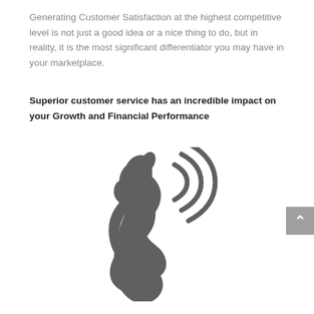Generating Customer Satisfaction at the highest competitive level is not just a good idea or a nice thing to do, but in reality, it is the most significant differentiator you may have in your marketplace.
Superior customer service has an incredible impact on your Growth and Financial Performance
[Figure (illustration): A telephone handset icon with signal/wifi waves emanating from it, rendered in dark gray on white background]